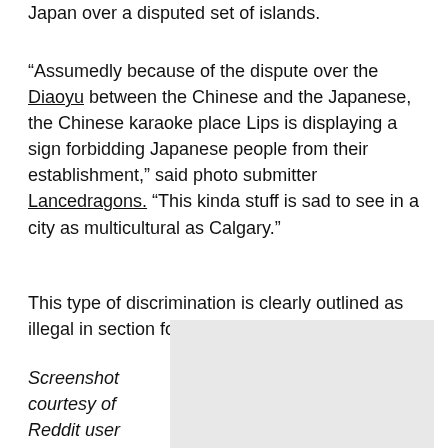Japan over a disputed set of islands.
“Assumedly because of the dispute over the Diaoyu between the Chinese and the Japanese, the Chinese karaoke place Lips is displaying a sign forbidding Japanese people from their establishment,” said photo submitter Lancedragons. “This kinda stuff is sad to see in a city as multicultural as Calgary.”
This type of discrimination is clearly outlined as illegal in section four, part B
Screenshot courtesy of Reddit user
[Figure (screenshot): Screenshot image placeholder, grey rectangle]